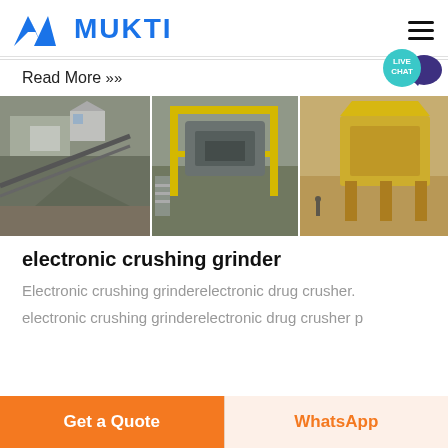[Figure (logo): MUKTI company logo with blue triangular mountain-like symbol and blue bold text MUKTI]
Read More »
[Figure (photo): Three panel industrial photo strip showing mining/crushing machinery and equipment sites]
electronic crushing grinder
Electronic crushing grinderelectronic drug crusher.
electronic crushing grinderelectronic drug crusher p
Get a Quote
WhatsApp